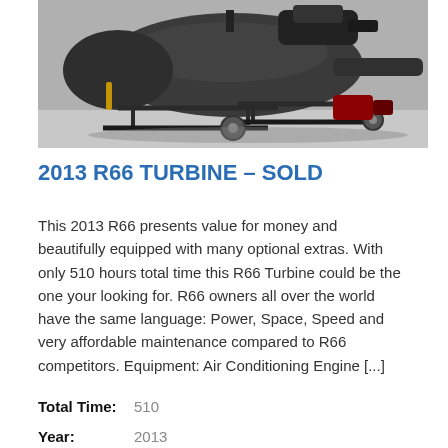[Figure (photo): Photograph of a dark-colored R66 turbine helicopter in a hangar, viewed from the front-left angle, showing skids, fuselage, and engine components.]
2013 R66 TURBINE – SOLD
This 2013 R66 presents value for money and beautifully equipped with many optional extras. With only 510 hours total time this R66 Turbine could be the one your looking for. R66 owners all over the world have the same language: Power, Space, Speed and very affordable maintenance compared to R66 competitors. Equipment: Air Conditioning Engine [...]
Total Time:   510
Year:   2013